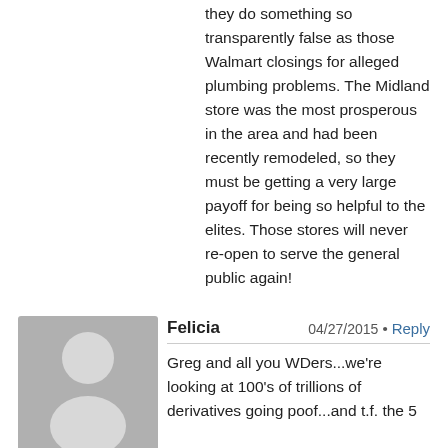they do something so transparently false as those Walmart closings for alleged plumbing problems. The Midland store was the most prosperous in the area and had been recently remodeled, so they must be getting a very large payoff for being so helpful to the elites. Those stores will never re-open to serve the general public again!
[Figure (illustration): Gray default user avatar icon showing silhouette of a person]
Felicia
04/27/2015
Reply
Greg and all you WDers...we're looking at 100's of trillions of derivatives going poof...and t.f. the 5 too-big-to-fail banks having their balance sheets just explode (though JPM Chase has been buying millions of oz of silver just recently. And Mexico is going back to silver currencies, as well) My question to all of you thinkers...is if these 5 TBTF banks, fail and the smoke-n-mirrors western economy with it...where does that leave us homeowners who hold mortgages that are interconnected with the fiat system that is going to be going poof? Is it better to get out of this fiat paper, meaning sell your home, or better to ride it all out and stay put, grow your garden